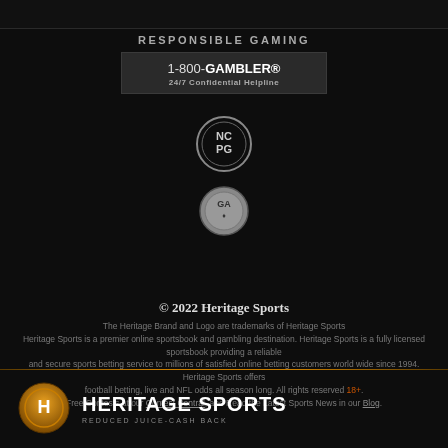RESPONSIBLE GAMING
[Figure (infographic): 1-800-GAMBLER® 24/7 Confidential Helpline box]
[Figure (logo): NCPG circular badge logo]
[Figure (logo): GA circular badge logo]
© 2022 Heritage Sports
The Heritage Brand and Logo are trademarks of Heritage Sports
Heritage Sports is a premier online sportsbook and gambling destination. Heritage Sports is a fully licensed sportsbook providing a reliable and secure sports betting service to millions of satisfied online betting customers world wide since 1994. Heritage Sports offers football betting, live and NFL odds all season long. All rights reserved 18+. Free Contests at our Contest Central, and Read the Latest Sports News in our Blog.
[Figure (logo): Heritage Sports logo with H emblem in gold circle and text HERITAGE SPORTS REDUCED JUICE-CASH BACK]